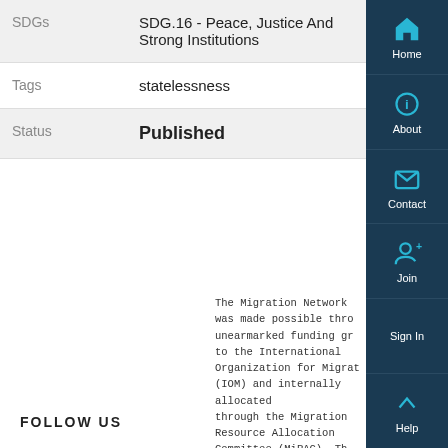| Field | Value |
| --- | --- |
| SDGs | SDG.16 - Peace, Justice And Strong Institutions |
| Tags | statelessness |
| Status | Published |
The Migration Network was made possible through unearmarked funding given to the International Organization for Migration (IOM) and internally allocated through the Migration Resource Allocation Committee (MiRAC). The is also co-funded by the European Union.
FOLLOW US